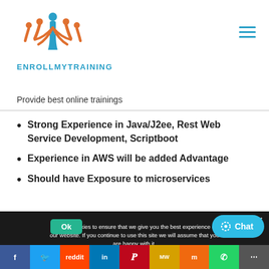[Figure (logo): EnrollMyTraining logo with orange figure icons and blue person silhouette, brand name ENROLLMYTRAINING in teal/blue below]
Provide best online trainings
Strong Experience in Java/J2ee, Rest Web Service Development, Scriptboot
Experience in AWS will be added Advantage
Should have Exposure to microservices
We use cookies to ensure that we give you the best experience on our website. If you continue to use this site we will assume that you are happy with it.